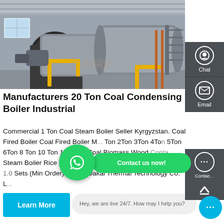[Figure (photo): Industrial coal boiler equipment in a factory/warehouse setting. Large cylindrical boiler vessels visible with yellow piping, gas burner equipment, and metal scaffolding. Concrete ceiling with structural beams overhead.]
Manufacturers 20 Ton Coal Condensing Boiler Industrial
Commercial 1 Ton Coal Steam Boiler Seller Kyrgyzstan. Coal Fired Boiler Coal Fired Boiler M... Ton 2Ton 3Ton 4Ton 5Ton 6Ton 8 Ton 10 Ton 15 Ton ... Coal Biomass Wood Steam Boiler Rice Boiler Machine. US $3000-$100000 / Set. 1.0 Sets (Min Order) Henan Dakai Thermal Technology Co. L...
[Figure (screenshot): WhatsApp contact button overlay with green circular logo and 'Contact us now!' green pill button]
Hey, we are live 24/7. How may I help you?
Learn More